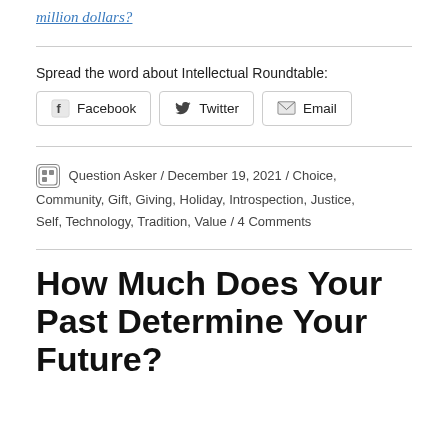million dollars?
Spread the word about Intellectual Roundtable:
[Figure (other): Social share buttons: Facebook, Twitter, Email]
Question Asker / December 19, 2021 / Choice, Community, Gift, Giving, Holiday, Introspection, Justice, Self, Technology, Tradition, Value / 4 Comments
How Much Does Your Past Determine Your Future?